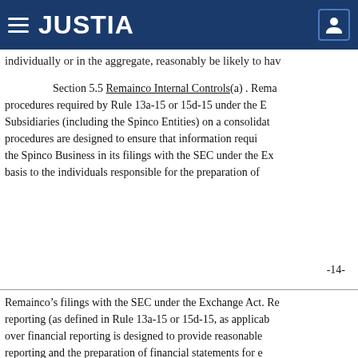JUSTIA
individually or in the aggregate, reasonably be likely to hav
Section 5.5 Remainco Internal Controls(a) . Rema procedures required by Rule 13a-15 or 15d-15 under the E Subsidiaries (including the Spinco Entities) on a consolidat procedures are designed to ensure that information requi the Spinco Business in its filings with the SEC under the Ex basis to the individuals responsible for the preparation of
-14-
Remainco’s filings with the SEC under the Exchange Act. Re reporting (as defined in Rule 13a-15 or 15d-15, as applicab over financial reporting is designed to provide reasonable reporting and the preparation of financial statements for e Remainco has disclosed, based on the most recent evalua Financial Officer prior to the date of this Agreement, to Re